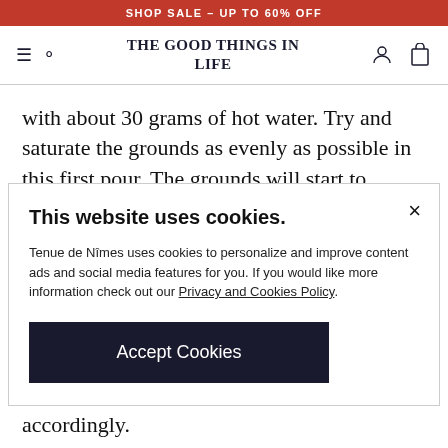SHOP SALE – UP TO 60% OFF
THE GOOD THINGS IN LIFE
with about 30 grams of hot water. Try and saturate the grounds as evenly as possible in this first pour. The grounds will start to
This website uses cookies.
Tenue de Nîmes uses cookies to personalize and improve content ads and social media features for you. If you would like more information check out our Privacy and Cookies Policy.
Accept Cookies
accordingly.